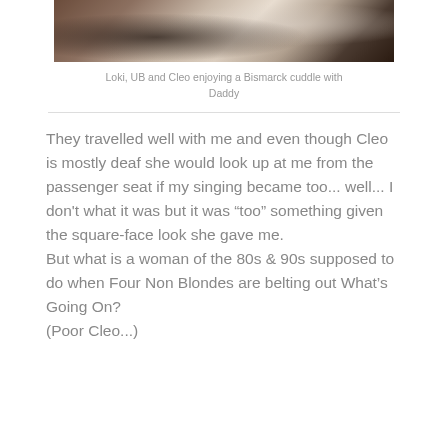[Figure (photo): Photo of dogs (Loki, UB and Cleo) on a Bismarck cuddle bed with Daddy — partially visible at top of page]
Loki, UB and Cleo enjoying a Bismarck cuddle with Daddy
They travelled well with me and even though Cleo is mostly deaf she would look up at me from the passenger seat if my singing became too... well... I don't what it was but it was "too" something given the square-face look she gave me.
But what is a woman of the 80s & 90s supposed to do when Four Non Blondes are belting out What's Going On?
(Poor Cleo...)